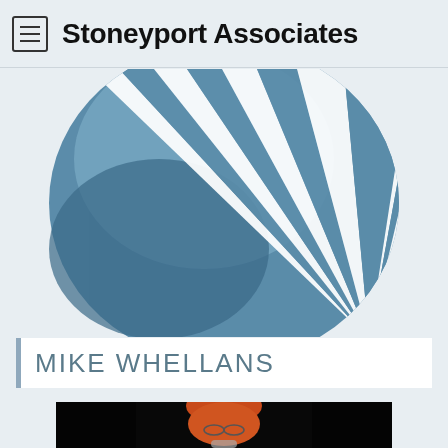Stoneyport Associates
[Figure (logo): Stoneyport Associates logo: a large circular shape in shades of blue with white diagonal radiating lines/stripes converging to the lower right]
MIKE WHELLANS
[Figure (photo): Photo of a bald man with glasses at a microphone, lit in warm reddish-orange light against a dark background]